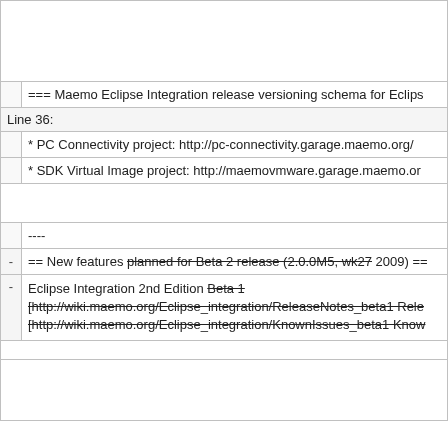|  | === Maemo Eclipse Integration release versioning schema for Eclips... |
| Line 36: |  |
|  | * PC Connectivity project: http://pc-connectivity.garage.maemo.org/ |
|  | * SDK Virtual Image project: http://maemovmware.garage.maemo.or... |
|  |  |
|  | ---- |
| - | == New features planned for Beta 2 release (2.0.0M5, wk27 2009) == |
| - | Eclipse Integration 2nd Edition Beta 1 [http://wiki.maemo.org/Eclipse_integration/ReleaseNotes_beta1 Rele... [http://wiki.maemo.org/Eclipse_integration/KnownIssues_beta1 Know... |
|  |  |
|  |  |